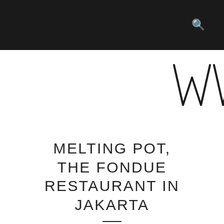[Figure (logo): Partial handwritten or script logo showing letters W in black on white background, top right corner]
MELTING POT, THE FONDUE RESTAURANT IN JAKARTA
4:44:00 AM